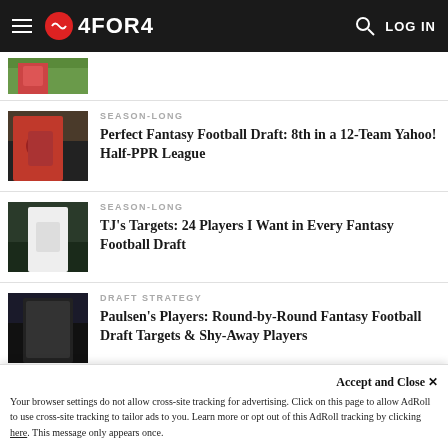4FOR4 — navigation bar with logo, search, and LOG IN
[Figure (photo): Partial article thumbnail image at top (cropped)]
SEASON-LONG
Perfect Fantasy Football Draft: 8th in a 12-Team Yahoo! Half-PPR League
[Figure (photo): Football player in red uniform running]
SEASON-LONG
TJ's Targets: 24 Players I Want in Every Fantasy Football Draft
[Figure (photo): Football player in white uniform with ball]
DRAFT STRATEGY
Paulsen's Players: Round-by-Round Fantasy Football Draft Targets & Shy-Away Players
[Figure (photo): Football player in dark jersey (partially visible)]
Accept and Close ✕
Your browser settings do not allow cross-site tracking for advertising. Click on this page to allow AdRoll to use cross-site tracking to tailor ads to you. Learn more or opt out of this AdRoll tracking by clicking here. This message only appears once.